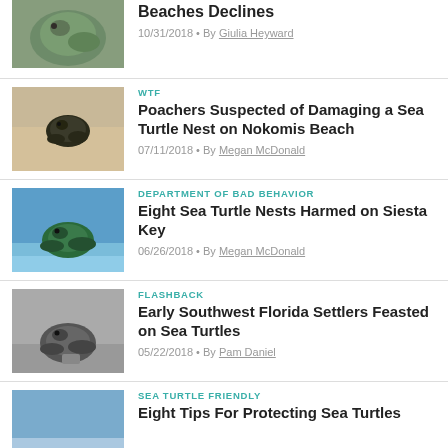[Figure (photo): Sea turtle close-up photo (partial, top of page)]
Beaches Declines
10/31/2018 • By Giulia Heyward
[Figure (photo): Small sea turtle on sand]
WTF
Poachers Suspected of Damaging a Sea Turtle Nest on Nokomis Beach
07/11/2018 • By Megan McDonald
[Figure (photo): Sea turtle crawling in shallow water]
DEPARTMENT OF BAD BEHAVIOR
Eight Sea Turtle Nests Harmed on Siesta Key
06/26/2018 • By Megan McDonald
[Figure (photo): Black and white photo of sea turtle on beach]
FLASHBACK
Early Southwest Florida Settlers Feasted on Sea Turtles
05/22/2018 • By Pam Daniel
[Figure (photo): Sea turtle photo (partial, bottom of page)]
SEA TURTLE FRIENDLY
Eight Tips For Protecting Sea Turtles